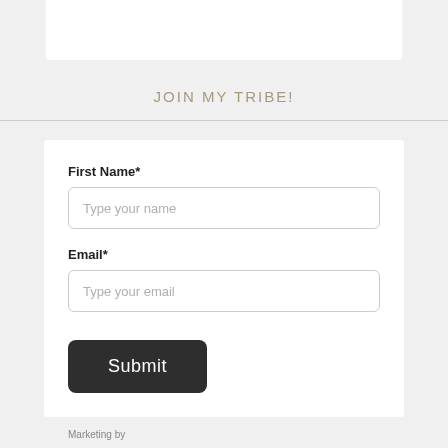JOIN MY TRIBE!
First Name*
Type your name
Email*
Type your email
Submit
Marketing by